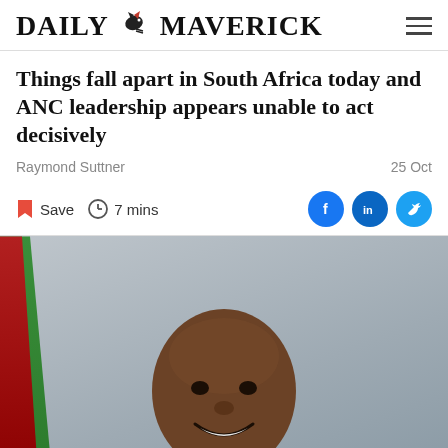DAILY MAVERICK
Things fall apart in South Africa today and ANC leadership appears unable to act decisively
Raymond Suttner
25 Oct
Save  7 mins
[Figure (photo): Portrait photograph of a smiling man, likely a political figure, in a dark suit. South African flag visible in the background. Photo fills lower portion of the page.]